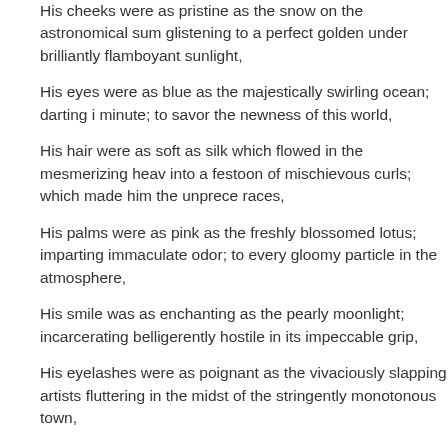His cheeks were as pristine as the snow on the astronomical sum glistening to a perfect golden under brilliantly flamboyant sunlight,
His eyes were as blue as the majestically swirling ocean; darting i minute; to savor the newness of this world,
His hair were as soft as silk which flowed in the mesmerizing heav into a festoon of mischievous curls; which made him the unprece races,
His palms were as pink as the freshly blossomed lotus; imparting immaculate odor; to every gloomy particle in the atmosphere,
His smile was as enchanting as the pearly moonlight; incarcerating belligerently hostile in its impeccable grip,
His eyelashes were as poignant as the vivaciously slapping artists fluttering in the midst of the stringently monotonous town,
His lips were as sweet as marvelously rejuvenating sticks of sugar profuse scarlet in every conceivable shade of changing light,
His skin was as flawless as the mothers milk; granting one the ten any aspect of treacherous life; the instant he caressed it,
His feet were as voluptuously spongy as the bed of overwhelming sending shivers round every cranny of the earth as he nimbly tran
His ears were as rhapsodic as globules of royally cascading hone